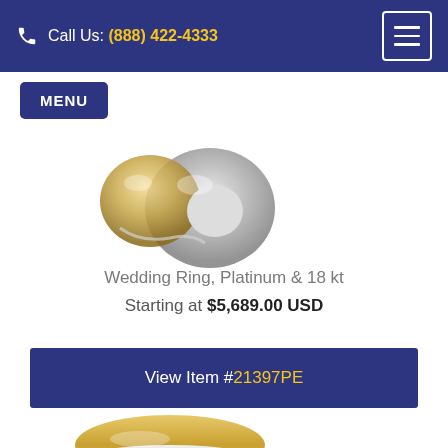Call Us: (888) 422-4333
MENU
[Figure (photo): Close-up photo of a wedding ring in platinum and 18kt gold, partially cropped at top of product listing]
Wedding Ring, Platinum & 18 kt
Starting at $5,689.00 USD
View Item #21397PE
[Figure (photo): Partially visible wedding ring with tri-color gold bands at the bottom of the page]